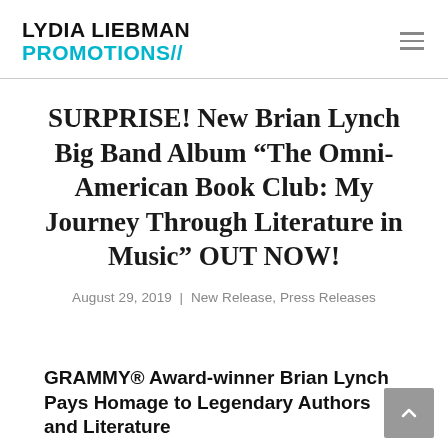LYDIA LIEBMAN PROMOTIONS//
SURPRISE! New Brian Lynch Big Band Album “The Omni-American Book Club: My Journey Through Literature in Music” OUT NOW!
August 29, 2019  |  New Release, Press Releases
GRAMMY® Award-winner Brian Lynch Pays Homage to Legendary Authors and Literature